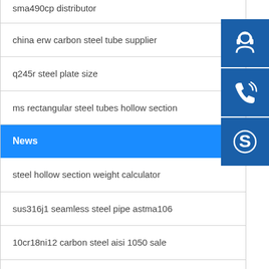sma490cp distributor
china erw carbon steel tube supplier
q245r steel plate size
ms rectangular steel tubes hollow section
News
steel hollow section weight calculator
sus316j1 seamless steel pipe astma106
10cr18ni12 carbon steel aisi 1050 sale
hot rolled sm490ya steel plate with certificate